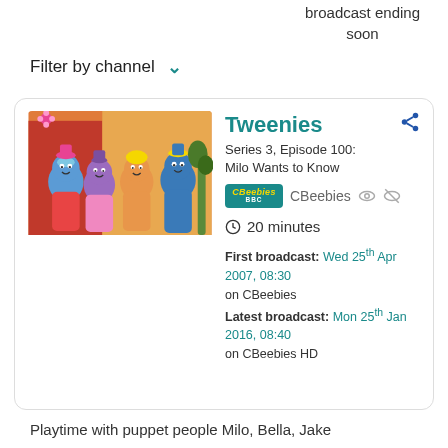broadcast ending soon
Filter by channel
[Figure (photo): Four Tweenies puppet characters in colourful costumes standing together against an orange and red background]
Tweenies
Series 3, Episode 100: Milo Wants to Know
CBeebies
20 minutes
First broadcast: Wed 25th Apr 2007, 08:30 on CBeebies
Latest broadcast: Mon 25th Jan 2016, 08:40 on CBeebies HD
Playtime with puppet people Milo, Bella, Jake